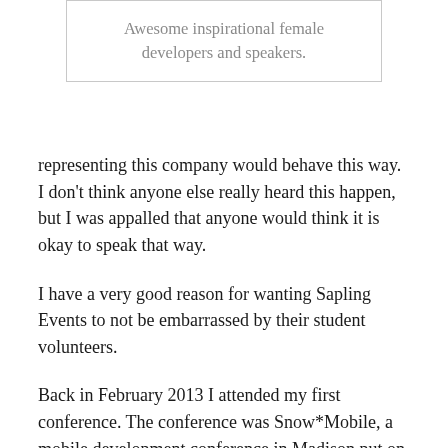[Figure (other): Quoted text box with border: 'Awesome inspirational female developers and speakers.']
representing this company would behave this way. I don't think anyone else really heard this happen, but I was appalled that anyone would think it is okay to speak that way.
I have a very good reason for wanting Sapling Events to not be embarrassed by their student volunteers.
Back in February 2013 I attended my first conference. The conference was Snow*Mobile, a mobile development conference in Madison put on by Sapling.
My teacher Eric Knapp told us that the conference organizers allowed students to attend the conference in exchange for several hours of volunteer help. The conference cost several hundred dollars which is a lot of money to an unemployed